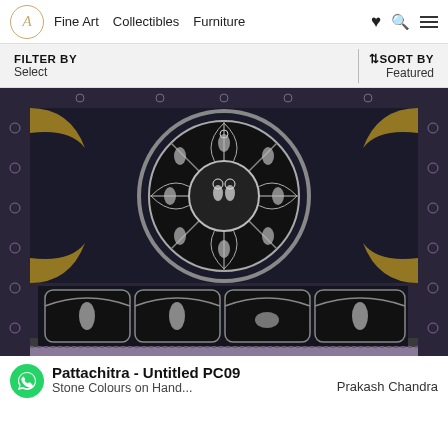Fine Art   Collectibles   Furniture
FILTER BY
Select
↕SORT BY
Featured
[Figure (photo): Traditional Indian Pattachitra painting with intricate patterns. Features a large central wheel/mandala design with silver and gold figures on black background, depicting deities and dancers. Bottom section shows four arched panels with individual deity figures. Ornate floral border surrounds the composition.]
Pattachitra - Untitled PC09
Stone Colours on Hand...
Prakash Chandra